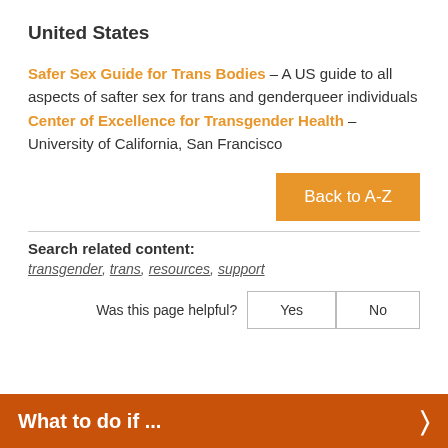United States
Safer Sex Guide for Trans Bodies – A US guide to all aspects of safter sex for trans and genderqueer individuals
Center of Excellence for Transgender Health – University of California, San Francisco
Back to A-Z
Search related content:
transgender, trans, resources, support
Was this page helpful? Yes No
What to do if ...